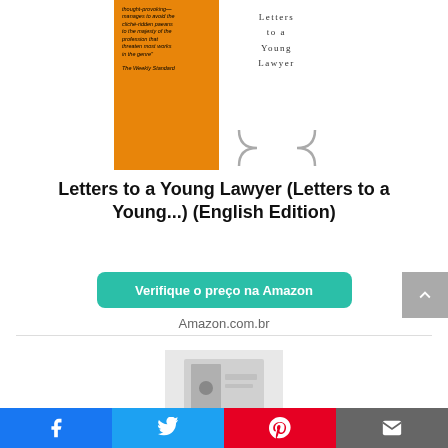[Figure (photo): Book cover of 'Letters to a Young Lawyer' by Alan Dershowitz. Left half is orange with small italic review text and the author's name 'Alan Ders...' in large vertical black bold letters. Right half is white with 'Letters to a Young Lawyer' in spaced serif text and a decorative curly brace.]
Letters to a Young Lawyer (Letters to a Young...) (English Edition)
Verifique o preço na Amazon
Amazon.com.br
[Figure (photo): Partial image of a second book, appears to be a physical book on a surface, partially visible at bottom of page.]